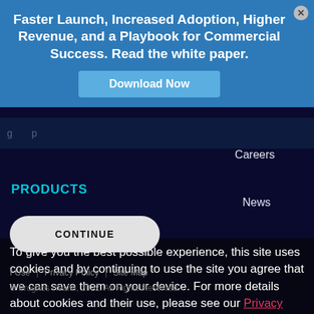Faster Launch, Increased Adoption, Higher Revenue, and a Playbook for Commercial Success. Read the white paper.
Download Now
PRODUCTS
Careers
News
Life Sciences
To give you the best possible experience, this site uses cookies and by continuing to use the site you agree that we can save them on your device. For more details about cookies and their use, please see our Privacy Policy.
CONTINUE
Terms of Use | Privacy Policy | Site Map
© Prognos Health, 2022. All Rights Reserved.